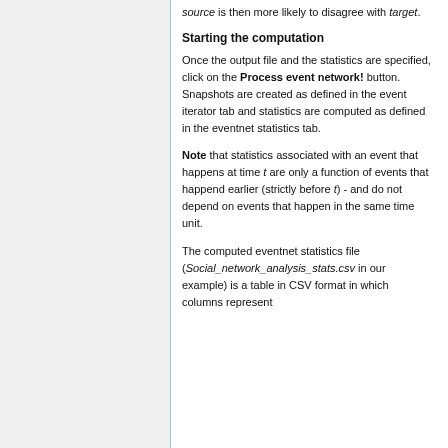source is then more likely to disagree with target.
Starting the computation
Once the output file and the statistics are specified, click on the Process event network! button. Snapshots are created as defined in the event iterator tab and statistics are computed as defined in the eventnet statistics tab.
Note that statistics associated with an event that happens at time t are only a function of events that happend earlier (strictly before t) - and do not depend on events that happen in the same time unit.
The computed eventnet statistics file (Social_network_analysis_stats.csv in our example) is a table in CSV format in which columns represent...